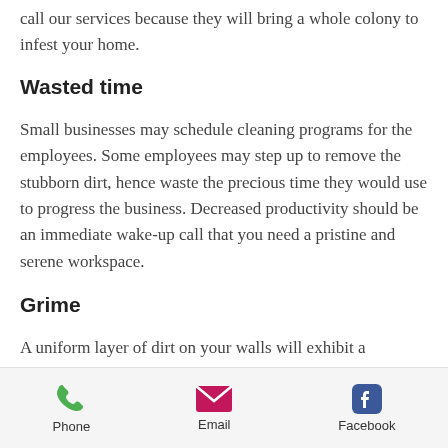call our services because they will bring a whole colony to infest your home.
Wasted time
Small businesses may schedule cleaning programs for the employees. Some employees may step up to remove the stubborn dirt, hence waste the precious time they would use to progress the business. Decreased productivity should be an immediate wake-up call that you need a pristine and serene workspace.
Grime
A uniform layer of dirt on your walls will exhibit a uniformly different color. It is time to call a commercial cleaning
Phone   Email   Facebook